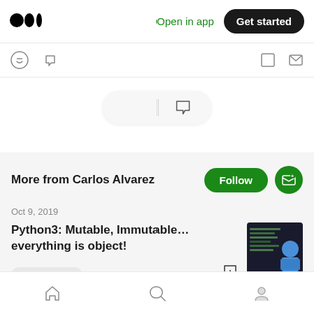Medium logo | Open in app | Get started
[Figure (screenshot): Action icons row with clap and comment icons at top]
[Figure (screenshot): Floating pill with clap hands emoji and speech bubble icon]
More from Carlos Alvarez
Oct 9, 2019
Python3: Mutable, Immutable… everything is object!
Programming  3 min read
Home | Search | Profile